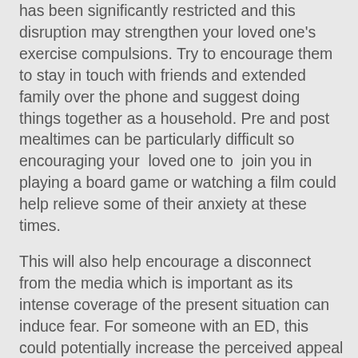has been significantly restricted and this disruption may strengthen your loved one's exercise compulsions. Try to encourage them to stay in touch with friends and extended family over the phone and suggest doing things together as a household. Pre and post mealtimes can be particularly difficult so encouraging your loved one to join you in playing a board game or watching a film could help relieve some of their anxiety at these times.
This will also help encourage a disconnect from the media which is important as its intense coverage of the present situation can induce fear. For someone with an ED, this could potentially increase the perceived appeal of retreating to the comfort of their safety blanket (ED). It might also serve as a distraction from social media which is equally important as it is currently rife with 'jokes' about the impact social distancing could have on our weight. Your loved one's ED (like society at large) will try to